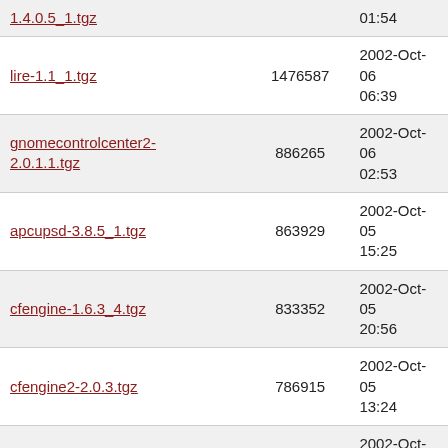| 1.4.0.5_1.tgz |  | 01:54 |
| lire-1.1_1.tgz | 1476587 | 2002-Oct-06 06:39 |
| gnomecontrolcenter2-2.0.1.1.tgz | 886265 | 2002-Oct-06 02:53 |
| apcupsd-3.8.5_1.tgz | 863929 | 2002-Oct-05 15:25 |
| cfengine-1.6.3_4.tgz | 833352 | 2002-Oct-05 20:56 |
| cfengine2-2.0.3.tgz | 786915 | 2002-Oct-05 13:24 |
| xcdroast-0.98.a.10.tgz | 749993 | 2002-Oct-05 22:52 |
| kdeadmin-3.0.3.tgz | 659551 | 2002-Oct-06 08:31 |
| fileutils-4.1_1.tgz | 632357 | 2002-Oct-05 15:30 |
| cdbakeoven-1.8.9.tgz | 511915 | 2002-Oct-06 10:46 |
| gtop-1.0.13_1.tgz | 510112 | 2002-Oct-06 01:37 |
| gkrollm_2.0.4.tgz | 507700 | 2002-Oct-06 |